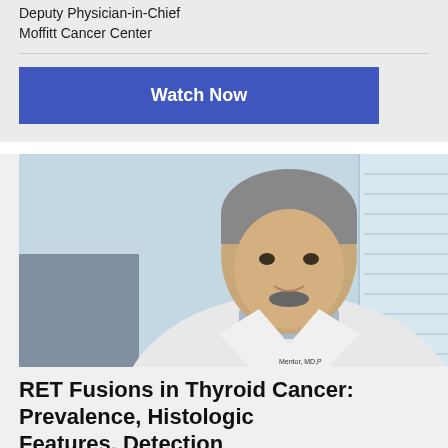Deputy Physician-in-Chief
Moffitt Cancer Center
[Figure (photo): Portrait photo of a male doctor in a white lab coat with a light blue shirt, gray hair, smiling, with a blurred indoor background]
RET Fusions in Thyroid Cancer: Prevalence, Histologic Features, Detection